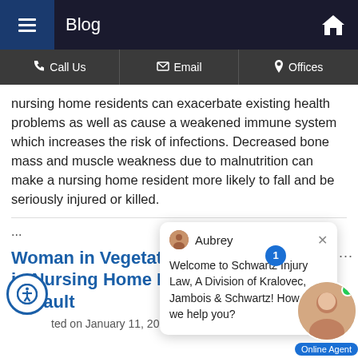Blog
nursing home residents can exacerbate existing health problems as well as cause a weakened immune system which increases the risk of infections. Decreased bone mass and muscle weakness due to malnutrition can make a nursing home resident more likely to fall and be seriously injured or killed.
... [chat overlay: Aubrey — Welcome to Schwartz Injury Law, A Division of Kralovec, Jambois & Schwartz! How can we help you?]
Woman in Vegetative State Gives Birth in Nursing Home Following Presumed Assault
Posted on January 11, 2019 in Sexual Abuse